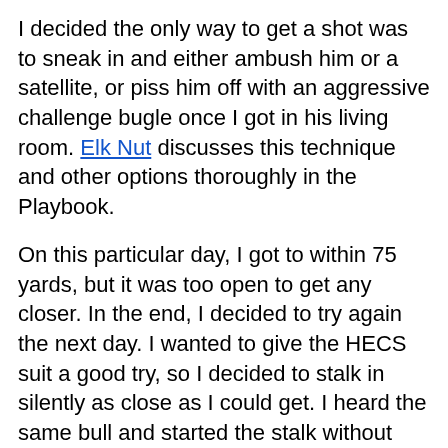I decided the only way to get a shot was to sneak in and either ambush him or a satellite, or piss him off with an aggressive challenge bugle once I got in his living room. Elk Nut discusses this technique and other options thoroughly in the Playbook.
On this particular day, I got to within 75 yards, but it was too open to get any closer. In the end, I decided to try again the next day. I wanted to give the HECS suit a good try, so I decided to stalk in silently as close as I could get. I heard the same bull and started the stalk without calling. I saw cow elk moving the opposite direction to my right, so I redirected and worked to get in front of them while they were feeding slowly.
Both of these two days, cow elk looked at me when they caught me moving slightly, then went back to eating. With the HECS suit on, it was looking good for avoiding the dreaded game of "stare and statue" that usually ends up with elk exiting the scene. I began to feel comfortable that, as long as I didn't get caught making big movements like walking, everything would be fine (given favorable wind).
The herd I stalked into this time was devoid of the herd bull. I had picked a small group of cows and a young raghorn. I